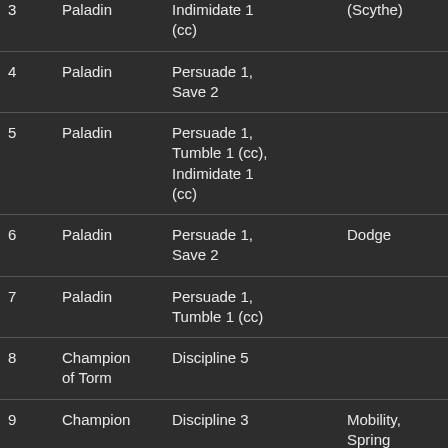| # | Class | Skills | Feats | Ability |
| --- | --- | --- | --- | --- |
| 3 | Paladin | Indimidate 1 (cc) | (Scythe) |  |
| 4 | Paladin | Persuade 1, Save 2 |  | Charisma |
| 5 | Paladin | Persuade 1, Tumble 1 (cc), Indimidate 1 (cc) |  |  |
| 6 | Paladin | Persuade 1, Save 2 | Dodge |  |
| 7 | Paladin | Persuade 1, Tumble 1 (cc) |  |  |
| 8 | Champion of Torm | Discipline 5 |  | Charisma |
| 9 | Champion | Discipline 3 | Mobility, Spring |  |